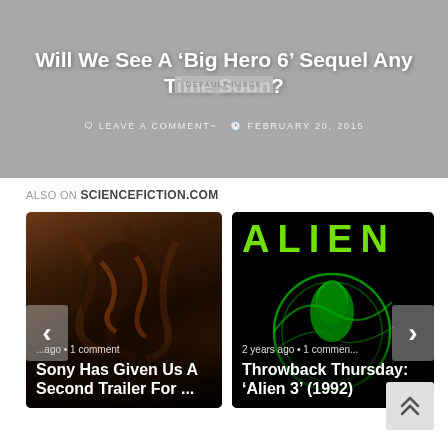[Figure (screenshot): Hero banner with gray background showing article title 'Will We See A Big Hero 6 Sequel Any Time Soon?' with placeholder image label and date/comment meta]
Will We See A ‘Big Hero 6’ Sequel Any Time Soon?
LEAVE A COMMENT ~ FEBRUARY 20, 2015
ALSO ON SCIENCEFICTION.COM
[Figure (screenshot): Card showing Venom-like creature image with text: '...ago • 1 comment' and title 'Sony Has Given Us A Second Trailer For ...']
[Figure (screenshot): Card showing Alien 3 logo with green alien head swirl and text: '2 years ago • 1 comment' and title 'Throwback Thursday: ‘Alien 3’ (1992)']